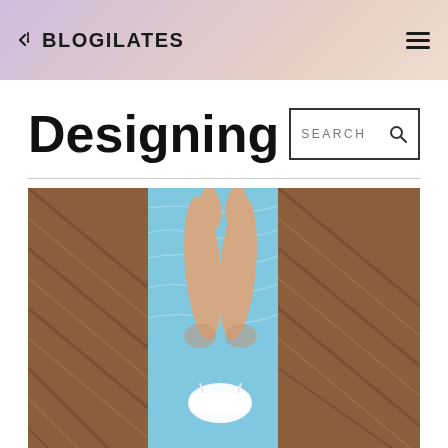BLOGILATES
Designing
SEARCH
[Figure (photo): Overhead view of a woman in a white bikini top lying poolside on wooden decking with a pool visible below her]